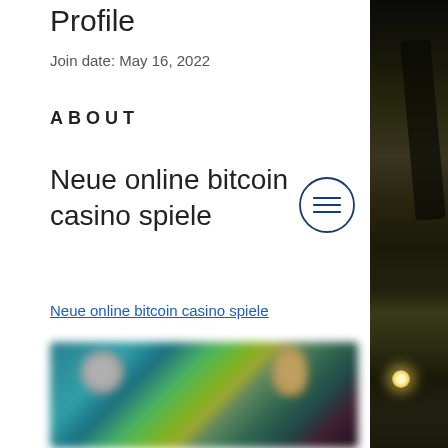Profile
Join date: May 16, 2022
ABOUT
Neue online bitcoin casino spiele
Neue online bitcoin casino spiele
[Figure (screenshot): Blurred screenshot of an online bitcoin casino game interface with game thumbnails and characters]
[Figure (photo): Night scene with trees and string lights on dark background, right edge of page]